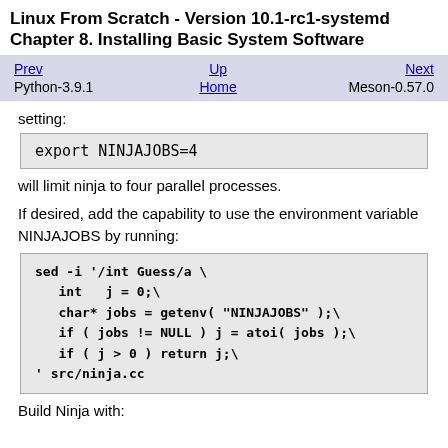Linux From Scratch - Version 10.1-rc1-systemd
Chapter 8. Installing Basic System Software
| Prev | Up | Next |
| --- | --- | --- |
| Python-3.9.1 | Home | Meson-0.57.0 |
setting:
export NINJAJOBS=4
will limit ninja to four parallel processes.
If desired, add the capability to use the environment variable NINJAJOBS by running:
sed -i '/int Guess/a \
    int   j = 0;\
    char* jobs = getenv( "NINJAJOBS" );\
    if ( jobs != NULL ) j = atoi( jobs );\
    if ( j > 0 ) return j;\
' src/ninja.cc
Build Ninja with: